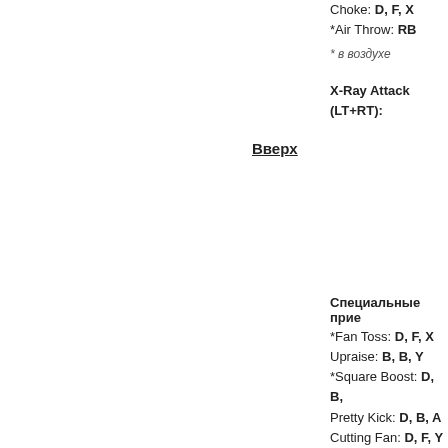Choke: D, F, X
*Air Throw: RB
* в воздухе
X-Ray Attack (LT+RT):
Вверх
Специальные прие
*Fan Toss: D, F, X
Upraise: B, B, Y
*Square Boost: D, B,
Pretty Kick: D, B, A
Cutting Fan: D, F, Y
Fake Out Kick: D, B,
* можно и в воздухе
X-Ray Attack (LT+RT